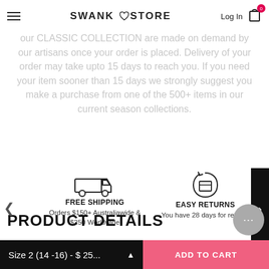SWANK STORE
our CLASSIC COLLECTION are made on demand by our artisans once your order is placed. Delivery of your order may take upto 15 days to reach you. If you need your item sooner than 15 days we strongly suggest you make a purchase from one of the 500+ items in our current season collections.
[Figure (illustration): Free shipping icon - delivery truck outline]
FREE SHIPPING
Orders $150+ Australiawide & $250 Worldwide
[Figure (illustration): Easy returns icon - circular arrow with box]
EASY RETURNS
You have 28 days for returns
PRODUCT DETAILS
THE TUNISIA – SHIRT DRESS
Size 2 (14 -16) - $ 25...
ADD TO CART